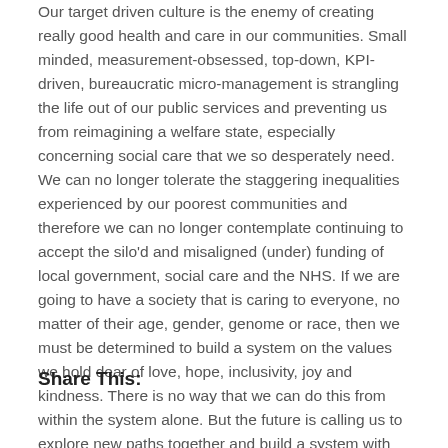Our target driven culture is the enemy of creating really good health and care in our communities. Small minded, measurement-obsessed, top-down, KPI-driven, bureaucratic micro-management is strangling the life out of our public services and preventing us from reimagining a welfare state, especially concerning social care that we so desperately need. We can no longer tolerate the staggering inequalities experienced by our poorest communities and therefore we can no longer contemplate continuing to accept the silo'd and misaligned (under) funding of local government, social care and the NHS. If we are going to have a society that is caring to everyone, no matter of their age, gender, genome or race, then we must be determined to build a system on the values we hold dear of love, hope, inclusivity, joy and kindness. There is no way that we can do this from within the system alone. But the future is calling us to explore new paths together and build a system with much more flexibility and adaptability. This is not outside of our gift, nor beyond our reach. We cannot do it alone. But if we let go of any fear of localism and wide participation, then together, with our communities, in the places where we live, we can create a society that truly cares.
Share This: